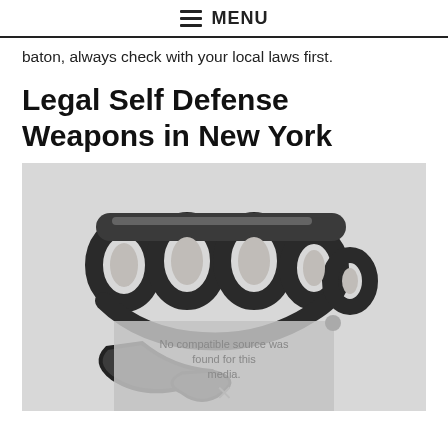≡ MENU
baton, always check with your local laws first.
Legal Self Defense Weapons in New York
[Figure (photo): Photograph of a set of brass knuckles (knuckle duster) placed on a light gray background. Below the main image is a gray overlay box with the text 'No compatible source was found for this media.' and an X icon.]